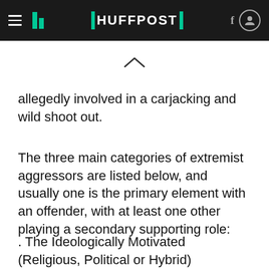HUFFPOST
allegedly involved in a carjacking and wild shoot out.
The three main categories of extremist aggressors are listed below, and usually one is the primary element with an offender, with at least one other playing a secondary supporting role:
. The Ideologically Motivated (Religious, Political or Hybrid)